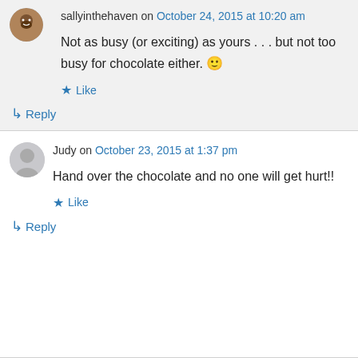sallyinthehaven on October 24, 2015 at 10:20 am
Not as busy (or exciting) as yours . . . but not too busy for chocolate either. 🙂
Like
↳ Reply
Judy on October 23, 2015 at 1:37 pm
Hand over the chocolate and no one will get hurt!!
Like
↳ Reply